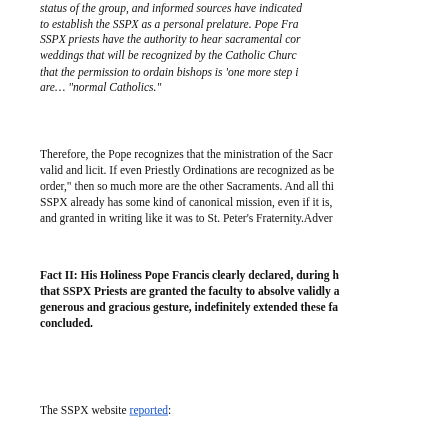status of the group, and informed sources have indicated to establish the SSPX as a personal prelature. Pope Fra… SSPX priests have the authority to hear sacramental cor… weddings that will be recognized by the Catholic Church that the permission to ordain bishops is 'one more step i… are… "normal Catholics."
Therefore, the Pope recognizes that the ministration of the Sacra… valid and licit. If even Priestly Ordinations are recognized as be… order," then so much more are the other Sacraments. And all thi… SSPX already has some kind of canonical mission, even if it is, and granted in writing like it was to St. Peter's Fraternity.Adver…
Fact II: His Holiness Pope Francis clearly declared, during h… that SSPX Priests are granted the faculty to absolve validly … generous and gracious gesture, indefinitely extended these fa… concluded.
The SSPX website reported: